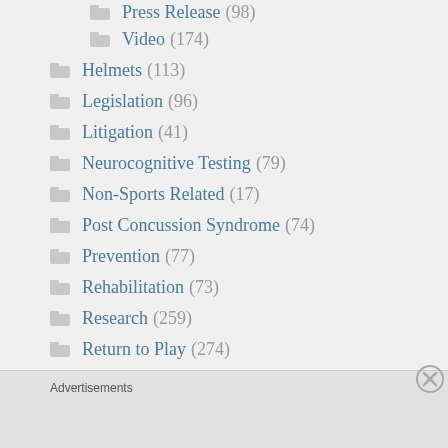Press Release (98)
Video (174)
Helmets (113)
Legislation (96)
Litigation (41)
Neurocognitive Testing (79)
Non-Sports Related (17)
Post Concussion Syndrome (74)
Prevention (77)
Rehabilitation (73)
Research (259)
Return to Play (274)
Advertisements